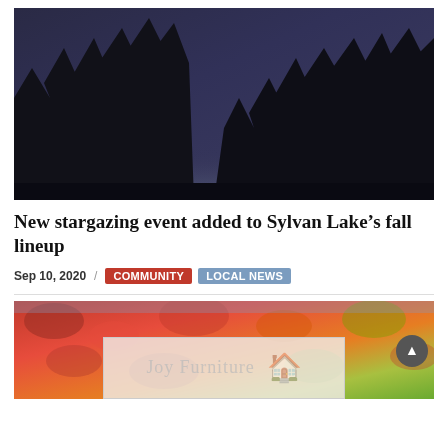[Figure (photo): Night sky with dark silhouettes of tall conifer trees against a deep blue-gray twilight sky, lighter near the horizon on the left.]
New stargazing event added to Sylvan Lake’s fall lineup
Sep 10, 2020 / COMMUNITY  LOCAL NEWS
[Figure (photo): Autumn red and green leaves filling the frame, with a partial view of an advertisement box below showing 'Joy Furniture' text and a logo silhouette, and a circular scroll-up button.]